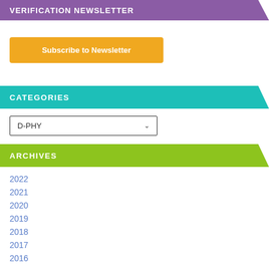VERIFICATION NEWSLETTER
Subscribe to Newsletter
CATEGORIES
D-PHY
ARCHIVES
2022
2021
2020
2019
2018
2017
2016